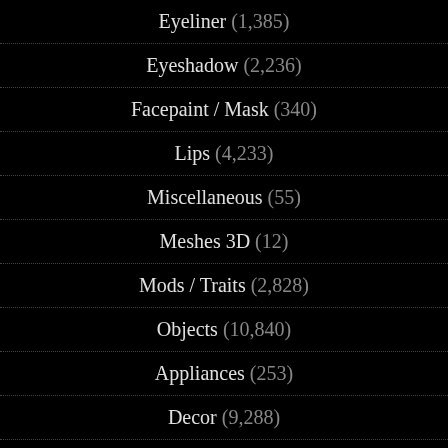Eyeliner (1,385)
Eyeshadow (2,236)
Facepaint / Mask (340)
Lips (4,233)
Miscellaneous (55)
Meshes 3D (12)
Mods / Traits (2,828)
Objects (10,840)
Appliances (253)
Decor (9,288)
Electronics (310)
Lighting (650)
Miscellaneous (458)